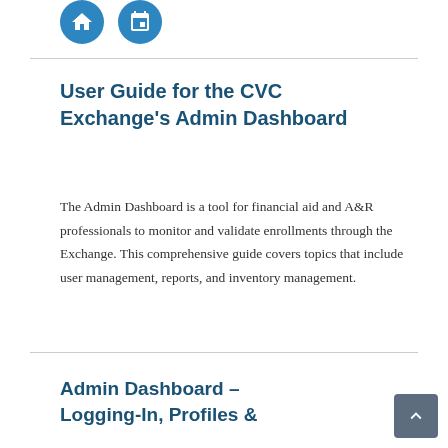[Figure (other): Two circular blue icon buttons at the top of the page]
User Guide for the CVC Exchange's Admin Dashboard
The Admin Dashboard is a tool for financial aid and A&R professionals to monitor and validate enrollments through the Exchange. This comprehensive guide covers topics that include user management, reports, and inventory management.
Admin Dashboard – Logging-In, Profiles &